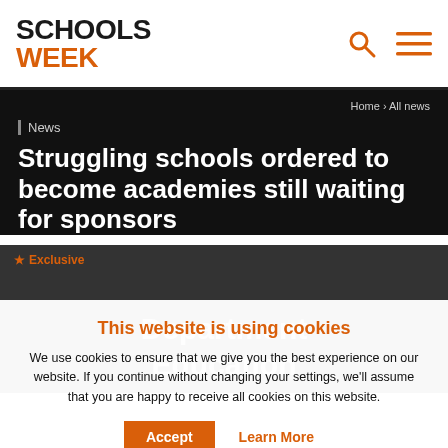SCHOOLS WEEK
Home › All news
News
Struggling schools ordered to become academies still waiting for sponsors
★ Exclusive
[Figure (screenshot): Partial view of article image showing Department for Education text overlay on dark background]
This website is using cookies
We use cookies to ensure that we give you the best experience on our website. If you continue without changing your settings, we'll assume that you are happy to receive all cookies on this website.
Accept   Learn More